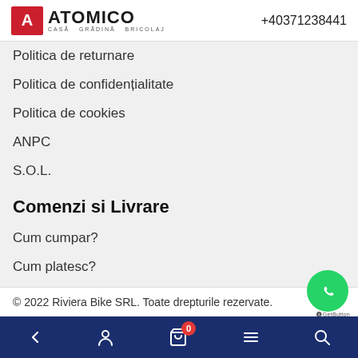ATOMICO CASA GRADINA BRICOLAJ +40371238441
Politica de returnare
Politica de confidențialitate
Politica de cookies
ANPC
S.O.L.
Comenzi si Livrare
Cum cumpar?
Cum platesc?
Cum returnez?
© 2022 Riviera Bike SRL. Toate drepturile rezervate.